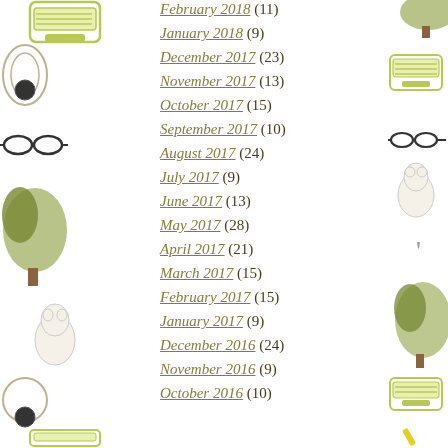February 2018 (11)
January 2018 (9)
December 2017 (23)
November 2017 (13)
October 2017 (15)
September 2017 (10)
August 2017 (24)
July 2017 (9)
June 2017 (13)
May 2017 (28)
April 2017 (21)
March 2017 (15)
February 2017 (15)
January 2017 (9)
December 2016 (24)
November 2016 (9)
October 2016 (10)
[Figure (illustration): Decorative blog sidebar illustrations: typewriter, glasses, tree, mouse/bear figurines, pencil, hat — repeated pattern on left and right borders of the page]